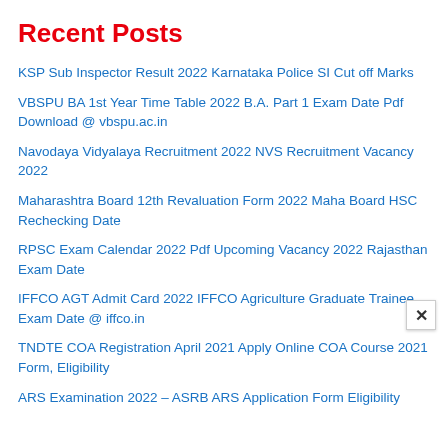Recent Posts
KSP Sub Inspector Result 2022 Karnataka Police SI Cut off Marks
VBSPU BA 1st Year Time Table 2022 B.A. Part 1 Exam Date Pdf Download @ vbspu.ac.in
Navodaya Vidyalaya Recruitment 2022 NVS Recruitment Vacancy 2022
Maharashtra Board 12th Revaluation Form 2022 Maha Board HSC Rechecking Date
RPSC Exam Calendar 2022 Pdf Upcoming Vacancy 2022 Rajasthan Exam Date
IFFCO AGT Admit Card 2022 IFFCO Agriculture Graduate Trainee Exam Date @ iffco.in
TNDTE COA Registration April 2021 Apply Online COA Course 2021 Form, Eligibility
ARS Examination 2022 – ASRB ARS Application Form Eligibility